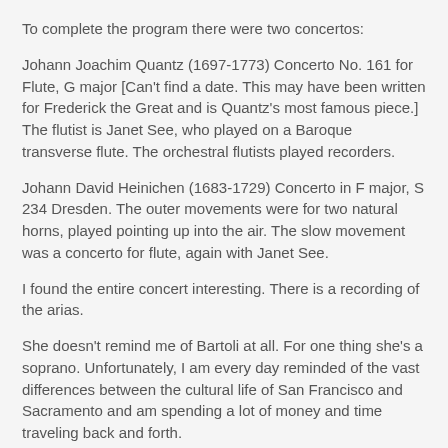To complete the program there were two concertos:
Johann Joachim Quantz (1697-1773) Concerto No. 161 for Flute, G major [Can't find a date. This may have been written for Frederick the Great and is Quantz's most famous piece.] The flutist is Janet See, who played on a Baroque transverse flute. The orchestral flutists played recorders.
Johann David Heinichen (1683-1729) Concerto in F major, S 234 Dresden. The outer movements were for two natural horns, played pointing up into the air. The slow movement was a concerto for flute, again with Janet See.
I found the entire concert interesting. There is a recording of the arias.
She doesn't remind me of Bartoli at all. For one thing she's a soprano. Unfortunately, I am every day reminded of the vast differences between the cultural life of San Francisco and Sacramento and am spending a lot of money and time traveling back and forth.